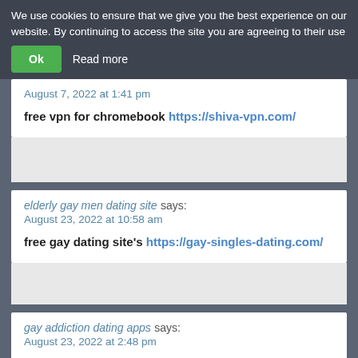We use cookies to ensure that we give you the best experience on our website. By continuing to access the site you are agreeing to their use
Ok   Read more
August 7, 2022 at 1:41 pm
free vpn for chromebook https://shiva-vpn.com/
elderly gay men dating site says:
August 23, 2022 at 10:58 am
free gay dating site's https://gay-singles-dating.com/
gay addiction dating apps says:
August 23, 2022 at 2:48 pm